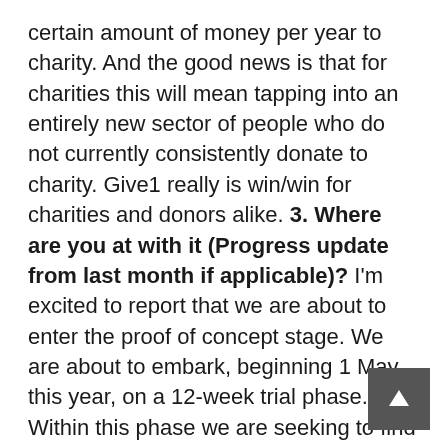certain amount of money per year to charity. And the good news is that for charities this will mean tapping into an entirely new sector of people who do not currently consistently donate to charity. Give1 really is win/win for charities and donors alike. 3. Where are you at with it (Progress update from last month if applicable)? I'm excited to report that we are about to enter the proof of concept stage. We are about to embark, beginning 1 May this year, on a 12-week trial phase. Within this phase we are seeking to find 100 people to join the Give1 movement. Within this time donors will join Give1 and begin giving their 1% or $1 a day. This money will be held in trust by a third party; Sydney based accountancy firm McCarthy Salkeld. (Feel free to check them out at www.mccarthysalkeld.com.au) During the